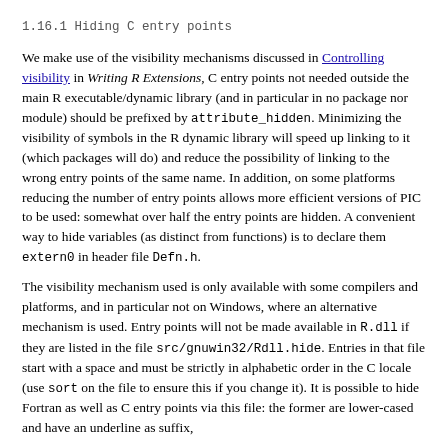1.16.1 Hiding C entry points
We make use of the visibility mechanisms discussed in Controlling visibility in Writing R Extensions, C entry points not needed outside the main R executable/dynamic library (and in particular in no package nor module) should be prefixed by attribute_hidden. Minimizing the visibility of symbols in the R dynamic library will speed up linking to it (which packages will do) and reduce the possibility of linking to the wrong entry points of the same name. In addition, on some platforms reducing the number of entry points allows more efficient versions of PIC to be used: somewhat over half the entry points are hidden. A convenient way to hide variables (as distinct from functions) is to declare them extern0 in header file Defn.h.
The visibility mechanism used is only available with some compilers and platforms, and in particular not on Windows, where an alternative mechanism is used. Entry points will not be made available in R.dll if they are listed in the file src/gnuwin32/Rdll.hide. Entries in that file start with a space and must be strictly in alphabetic order in the C locale (use sort on the file to ensure this if you change it). It is possible to hide Fortran as well as C entry points via this file: the former are lower-cased and have an underline as suffix,